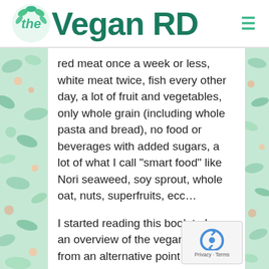the Vegan RD
red meat once a week or less, white meat twice, fish every other day, a lot of fruit and vegetables, only whole grain (including whole pasta and bread), no food or beverages with added sugars, a lot of what I call “smart food” like Nori seaweed, soy sprout, whole oat, nuts, superfruits, ecc…
I started reading this book to have an overview of the vegan world from an alternative point of view that took every aspect, expecialy those which belonging to “area o non-expertise”…